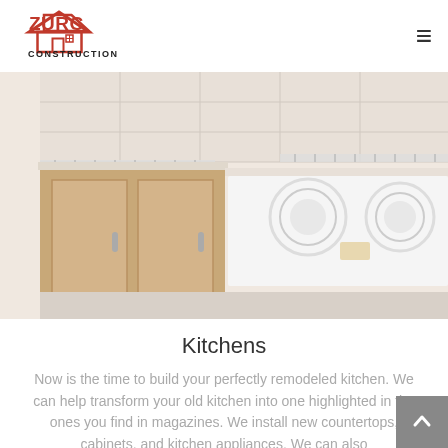[Figure (logo): Zürc Construction logo — red house icon with ZÜRC text above CONSTRUCTION]
[Figure (photo): Kitchen photo showing cabinets, wire shelving, countertops, and a white electric stovetop cooktop]
Kitchens
Now is the time to build your perfectly remodeled kitchen. We can help transform your old kitchen into one highlighted in the ones you find in magazines. We install new countertops, cabinets, and kitchen appliances. We can also